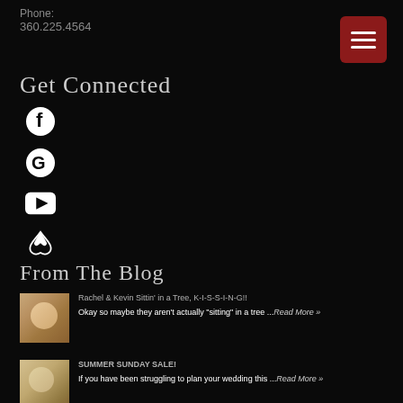Phone:
360.225.4564
Get Connected
[Figure (other): Social media icons: Facebook, Google, YouTube, Airbnb]
From The Blog
[Figure (photo): Wedding couple thumbnail for blog post 1]
Rachel & Kevin Sittin' in a Tree, K-I-S-S-I-N-G!!
Okay so maybe they aren't actually "sitting" in a tree ...Read More »
[Figure (photo): Wedding couple thumbnail for blog post 2]
SUMMER SUNDAY SALE!
If you have been struggling to plan your wedding this ...Read More »